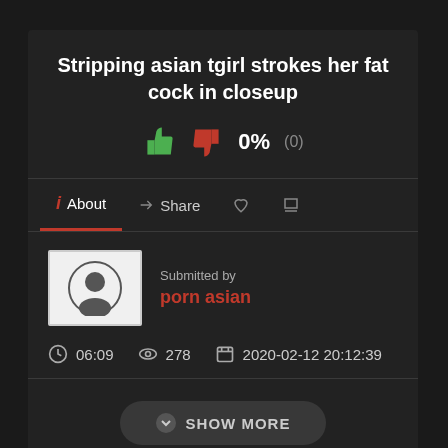Stripping asian tgirl strokes her fat cock in closeup
0% (0)
i About < Share ♡ ⚑
Submitted by
porn asian
06:09   278   2020-02-12 20:12:39
SHOW MORE